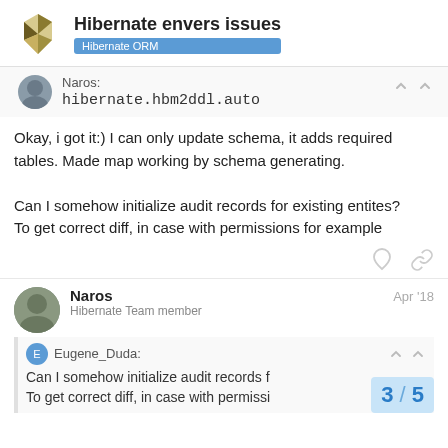Hibernate envers issues — Hibernate ORM
Naros:
hibernate.hbm2ddl.auto
Okay, i got it:) I can only update schema, it adds required tables. Made map working by schema generating.

Can I somehow initialize audit records for existing entites?
To get correct diff, in case with permissions for example
Naros — Hibernate Team member — Apr '18
Eugene_Duda:
Can I somehow initialize audit records f...
To get correct diff, in case with permissi...